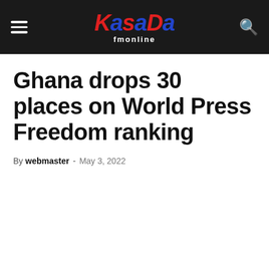Kasapa fmonline
Ghana drops 30 places on World Press Freedom ranking
By webmaster - May 3, 2022